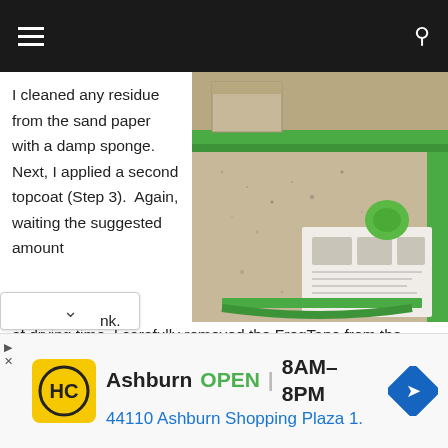Navigation bar with menu and search icons
I cleaned any residue from the sand paper with a damp sponge. Next, I applied a second topcoat (Step 3).  Again, waiting the suggested amount of drying time, I carefully removed the FrogTape from the walls nk.
[Figure (photo): A bathroom countertop with granite-look finish, green FrogTape applied along the edges, a paper instruction sheet on the surface, and a green applicator tool visible.]
Ashburn OPEN 8AM–8PM 44110 Ashburn Shopping Plaza 1.